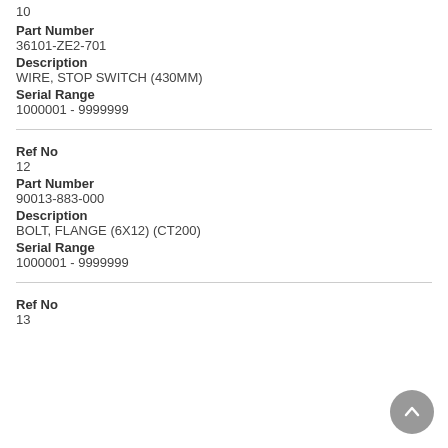10
Part Number
36101-ZE2-701
Description
WIRE, STOP SWITCH (430MM)
Serial Range
1000001 - 9999999
Ref No
12
Part Number
90013-883-000
Description
BOLT, FLANGE (6X12) (CT200)
Serial Range
1000001 - 9999999
Ref No
13